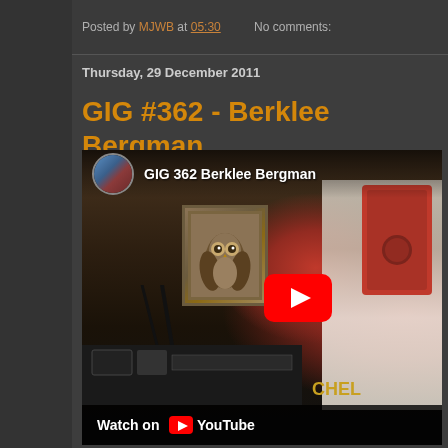Posted by MJWB at 05:30   No comments:
Thursday, 29 December 2011
GIG #362 - Berklee Bergman
[Figure (screenshot): YouTube video thumbnail for 'GIG 362 Berklee Bergman' showing a musician playing harmonica in a home studio setting with an owl painting on the wall. YouTube play button visible. 'Watch on YouTube' text at bottom.]